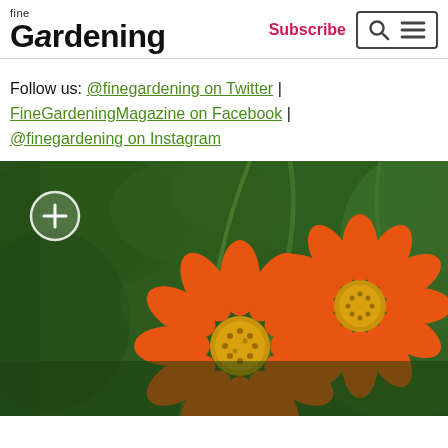fine Gardening | Subscribe | [Search] [Menu]
Follow us: @finegardening on Twitter | FineGardeningMagazine on Facebook | @finegardening on Instagram
[Figure (photo): Two bright orange Mexican sunflowers (Tithonia) with yellow centers against dark green leafy background. A white circle with plus sign overlays the upper left of the photo.]